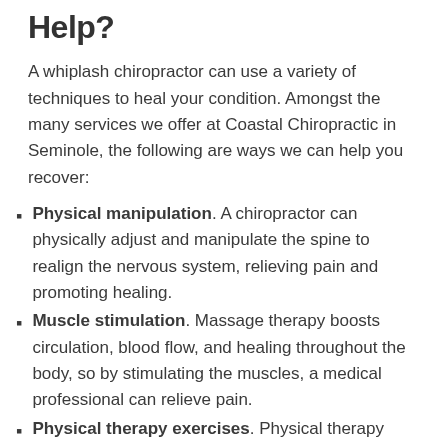Help?
A whiplash chiropractor can use a variety of techniques to heal your condition. Amongst the many services we offer at Coastal Chiropractic in Seminole, the following are ways we can help you recover:
Physical manipulation. A chiropractor can physically adjust and manipulate the spine to realign the nervous system, relieving pain and promoting healing.
Muscle stimulation. Massage therapy boosts circulation, blood flow, and healing throughout the body, so by stimulating the muscles, a medical professional can relieve pain.
Physical therapy exercises. Physical therapy encourages healing through the use of exercises and treatments that increase range of motion, boost muscle tone, and enhance the body's ability to recover.
Lifestyle changes. After an accident, you may need to